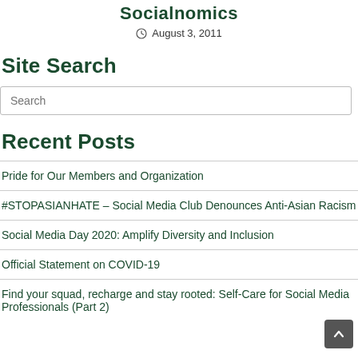Socialnomics
August 3, 2011
Site Search
Search
Recent Posts
Pride for Our Members and Organization
#STOPASIANHATE – Social Media Club Denounces Anti-Asian Racism
Social Media Day 2020: Amplify Diversity and Inclusion
Official Statement on COVID-19
Find your squad, recharge and stay rooted: Self-Care for Social Media Professionals (Part 2)